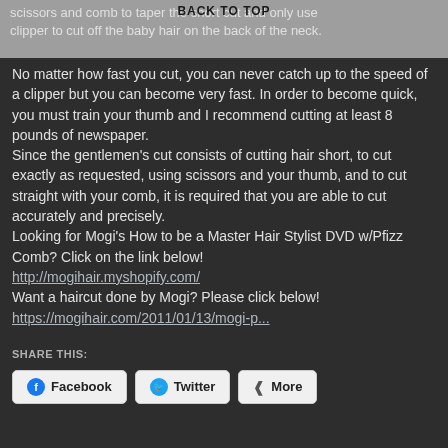scissors and comb to taper the short cut and only use
BACK TO TOP
clipper to cut off the baby hair on the back of the neck.
No matter how fast you cut, you can never catch up to the speed of a clipper but you can become very fast. In order to become quick, you must train your thumb and I recommend cutting at least 8 pounds of newspaper. Since the gentlemen’s cut consists of cutting hair short, to cut exactly as requested, using scissors and your thumb, and to cut straight with your comb, it is required that you are able to cut accurately and precisely.
Looking for Mogi’s How to be a Master Hair Stylist DVD w/Pfizz Comb? Click on the link below!
http://mogihair.myshopify.com/
Want a haircut done by Mogi? Please click below!
https://mogihair.com/2011/01/13/mogi-p...
SHARE THIS:
Facebook  Twitter  More